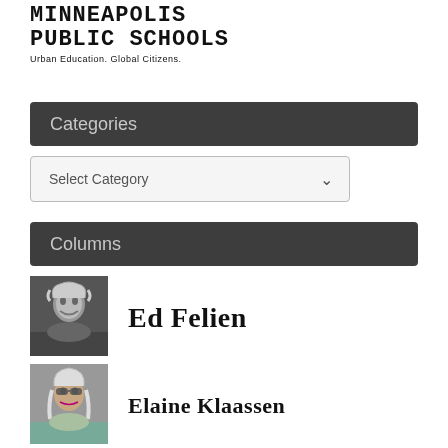[Figure (logo): Minneapolis Public Schools logo with text 'PUBLIC SCHOOLS' and tagline 'Urban Education. Global Citizens.']
Categories
Select Category
Columns
[Figure (photo): Black and white photo of Ed Felien, a person with light hair]
Ed Felien
[Figure (photo): Photo of Elaine Klaassen, a person with light hair and sunglasses]
Elaine Klaassen